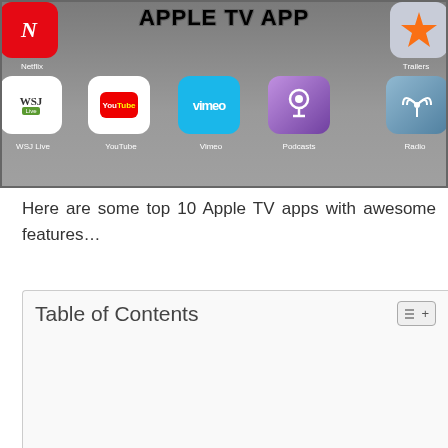[Figure (screenshot): Apple TV App screenshot showing app icons grid including Netflix, Trailers, WSJ Live, YouTube, Vimeo, Podcasts, Radio apps with 'Apple TV App' text overlay]
Here are some top 10 Apple TV apps with awesome features…
Table of Contents